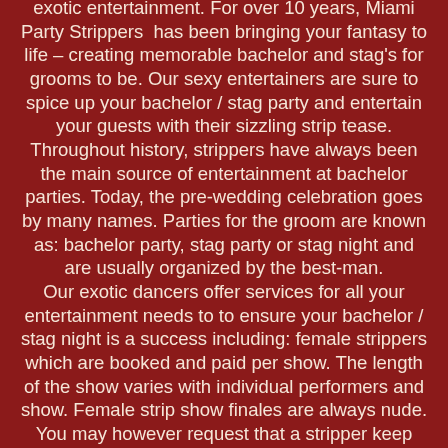exotic entertainment. For over 10 years, Miami Party Strippers has been bringing your fantasy to life – creating memorable bachelor and stag's for grooms to be. Our sexy entertainers are sure to spice up your bachelor / stag party and entertain your guests with their sizzling strip tease. Throughout history, strippers have always been the main source of entertainment at bachelor parties. Today, the pre-wedding celebration goes by many names. Parties for the groom are known as: bachelor party, stag party or stag night and are usually organized by the best-man. Our exotic dancers offer services for all your entertainment needs to to ensure your bachelor / stag night is a success including: female strippers which are booked and paid per show. The length of the show varies with individual performers and show. Female strip show finales are always nude. You may however request that a stripper keep undergarments on at the time of booking. Topless waitresses/ waiters, topless bartenders, topless servers, topless poker dealers and exotic host / hostesses add life to the party and create a fun atmosphere before and after the strip show. Our exotic hospitality caters to your guests by greeting, seating, filling drink orders, selling raffle